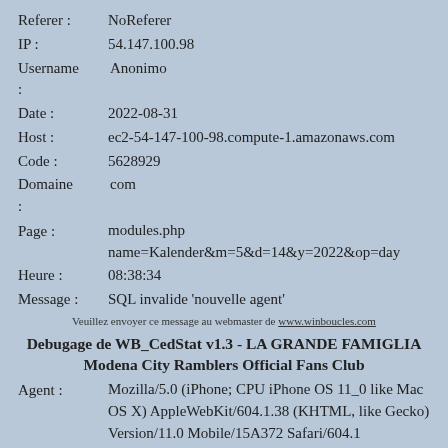Referer : NoReferer
IP : 54.147.100.98
Username : Anonimo
Date : 2022-08-31
Host : ec2-54-147-100-98.compute-1.amazonaws.com
Code : 5628929
Domaine : com
Page : modules.php name=Kalender&m=5&d=14&y=2022&op=day
Heure : 08:38:34
Message : SQL invalide 'nouvelle agent'
Veuillez envoyer ce message au webmaster de www.winboucles.com
Debugage de WB_CedStat v1.3 - LA GRANDE FAMIGLIA Modena City Ramblers Official Fans Club
Agent : Mozilla/5.0 (iPhone; CPU iPhone OS 11_0 like Mac OS X) AppleWebKit/604.1.38 (KHTML, like Gecko) Version/11.0 Mobile/15A372 Safari/604.1
Referer : NoReferer
IP : 54.147.100.98